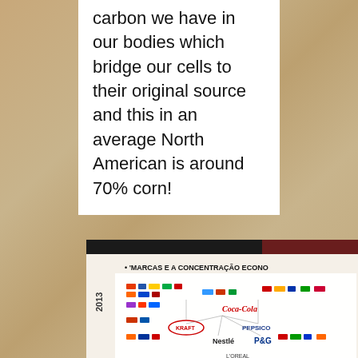carbon we have in our bodies which bridge our cells to their original source and this in an average North American is around 70% corn!
[Figure (photo): A photograph of a large poster or infographic titled 'MARCAS E A CONCENTRACAO ECONO...' (Brands and Economic Concentration) showing a network diagram of corporate brands including Coca-Cola, Kraft, Pepsico, Nestle, P&G, L'Oreal and many consumer brand logos, dated 2013.]